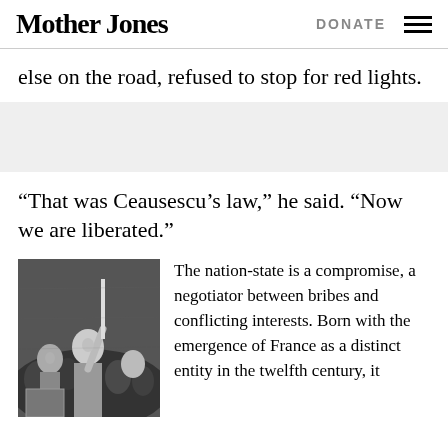Mother Jones | DONATE
else on the road, refused to stop for red lights.
“That was Ceausescu’s law,” he said. “Now we are liberated.”
[Figure (photo): Black and white photograph of a crowd of people, one man prominently holding up a flag or pole, looking upward, in a protest or demonstration scene.]
The nation-state is a compromise, a negotiator between bribes and conflicting interests. Born with the emergence of France as a distinct entity in the twelfth century, it